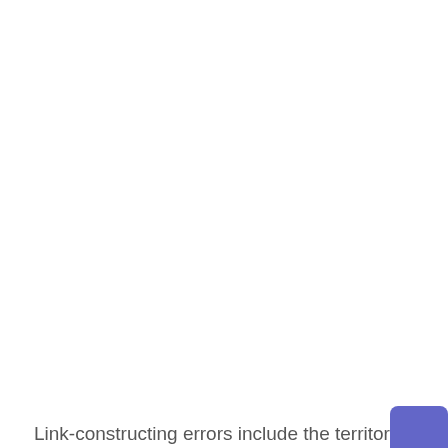Link-constructing errors include the territory: The lo
[Figure (other): Purple rounded rectangle button element at bottom-right corner]